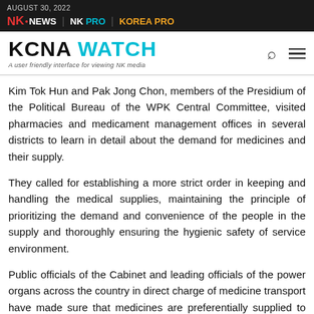AUGUST 30, 2022 | NK NEWS | NK PRO | KOREA PRO
KCNA WATCH — A user friendly interface for viewing NK media
Kim Tok Hun and Pak Jong Chon, members of the Presidium of the Political Bureau of the WPK Central Committee, visited pharmacies and medicament management offices in several districts to learn in detail about the demand for medicines and their supply.
They called for establishing a more strict order in keeping and handling the medical supplies, maintaining the principle of prioritizing the demand and convenience of the people in the supply and thoroughly ensuring the hygienic safety of service environment.
Public officials of the Cabinet and leading officials of the power organs across the country in direct charge of medicine transport have made sure that medicines are preferentially supplied to relevant pharmacies, clinics and neighborhood units and taken practical measures to eliminate unfairness in the supply of